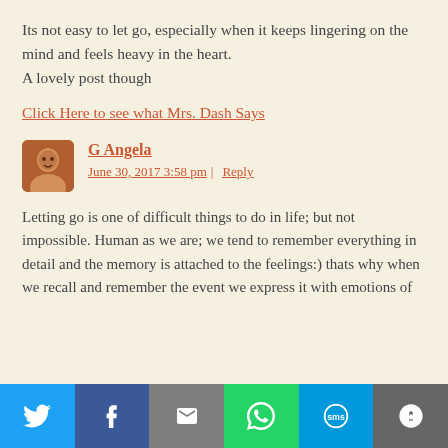Its not easy to let go, especially when it keeps lingering on the mind and feels heavy in the heart.
A lovely post though
Click Here to see what Mrs. Dash Says
G Angela
June 30, 2017 3:58 pm | Reply
Letting go is one of difficult things to do in life; but not impossible. Human as we are; we tend to remember everything in detail and the memory is attached to the feelings:) thats why when we recall and remember the event we express it with emotions of